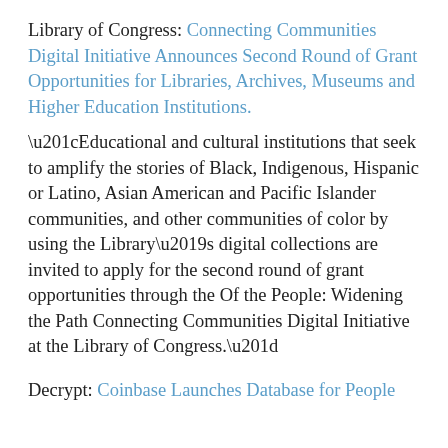Library of Congress: Connecting Communities Digital Initiative Announces Second Round of Grant Opportunities for Libraries, Archives, Museums and Higher Education Institutions.
“Educational and cultural institutions that seek to amplify the stories of Black, Indigenous, Hispanic or Latino, Asian American and Pacific Islander communities, and other communities of color by using the Library’s digital collections are invited to apply for the second round of grant opportunities through the Of the People: Widening the Path Connecting Communities Digital Initiative at the Library of Congress.”
Decrypt: Coinbase Launches Database for People